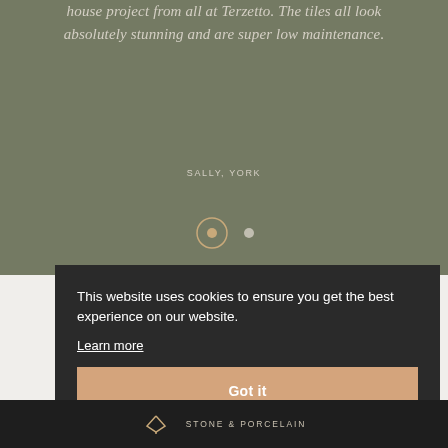house project from all at Terzetto. The tiles all look absolutely stunning and are super low maintenance.
SALLY, YORK
[Figure (other): Carousel navigation dots: one active dot inside a circle outline (gold/beige), one small filled dot]
This website uses cookies to ensure you get the best experience on our website. Learn more
Got it
STONE & PORCELAIN